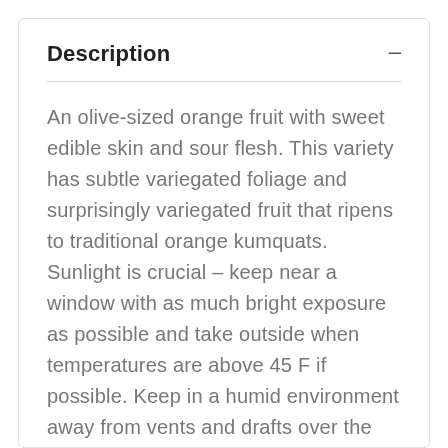Description
An olive-sized orange fruit with sweet edible skin and sour flesh. This variety has subtle variegated foliage and surprisingly variegated fruit that ripens to traditional orange kumquats. Sunlight is crucial – keep near a window with as much bright exposure as possible and take outside when temperatures are above 45 F if possible. Keep in a humid environment away from vents and drafts over the winter months to prevent leaf drop. Feed with citrus fertilizer spring through fall for